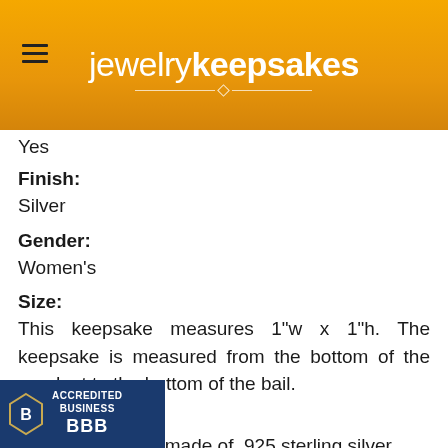jewelry keepsakes
Yes
Finish:
Silver
Gender:
Women's
Size:
This keepsake measures 1"w x 1"h. The keepsake is measured from the bottom of the pendant to the bottom of the bail.
Material:
This keepsake is made of .925 sterling silver.
Internal Volume:
This keepsake will hold a "pinch" of cremated ... "pinch" is equal to approximately 1/8 of a teaspoon